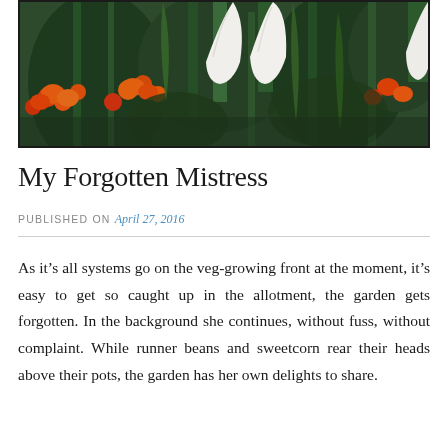[Figure (photo): A garden photo showing white tulips and orange/red flowers among green foliage, with a dark border frame around the image.]
My Forgotten Mistress
PUBLISHED ON April 27, 2016
As it’s all systems go on the veg-growing front at the moment, it’s easy to get so caught up in the allotment, the garden gets forgotten. In the background she continues, without fuss, without complaint. While runner beans and sweetcorn rear their heads above their pots, the garden has her own delights to share.